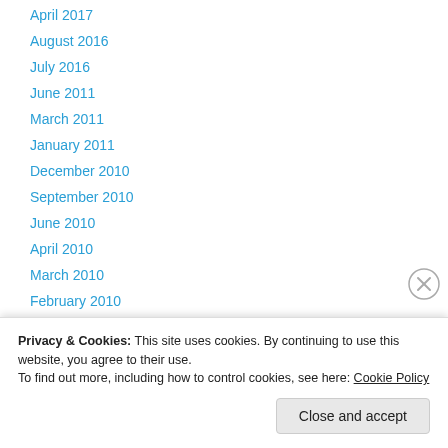April 2017
August 2016
July 2016
June 2011
March 2011
January 2011
December 2010
September 2010
June 2010
April 2010
March 2010
February 2010
January 2010
December 2009
November 2009
Privacy & Cookies: This site uses cookies. By continuing to use this website, you agree to their use.
To find out more, including how to control cookies, see here: Cookie Policy
Close and accept